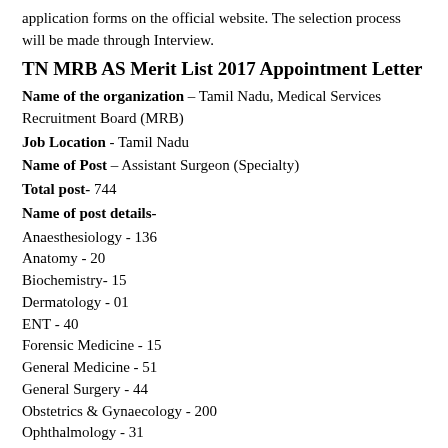application forms on the official website. The selection process will be made through Interview.
TN MRB AS Merit List 2017 Appointment Letter
Name of the organization – Tamil Nadu, Medical Services Recruitment Board (MRB)
Job Location - Tamil Nadu
Name of Post – Assistant Surgeon (Specialty)
Total post- 744
Name of post details-
Anaesthesiology - 136
Anatomy - 20
Biochemistry- 15
Dermatology - 01
ENT - 40
Forensic Medicine - 15
General Medicine - 51
General Surgery - 44
Obstetrics & Gynaecology - 200
Ophthalmology - 31
Orthopaedics - 43
Paediatrics - 71